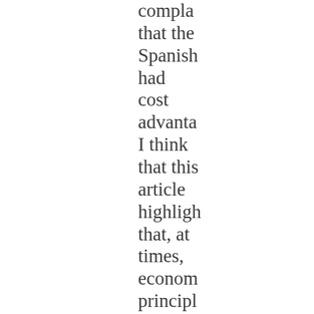compla... that the Spanish had cost advanta... I think that this article highligh... that, at times, econom... principl... can be heartless if they are not constrai...